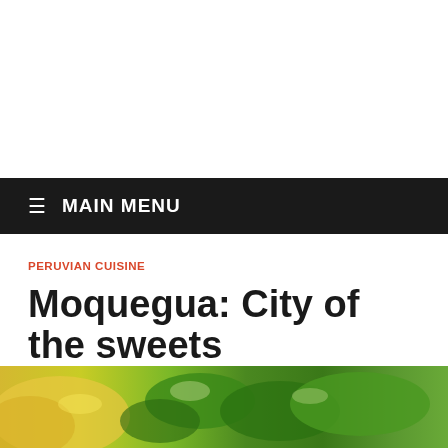≡ MAIN MENU
PERUVIAN CUISINE
Moquegua: City of the sweets
[Figure (photo): Close-up photo of fresh green and yellow vegetables, likely peppers and corn]